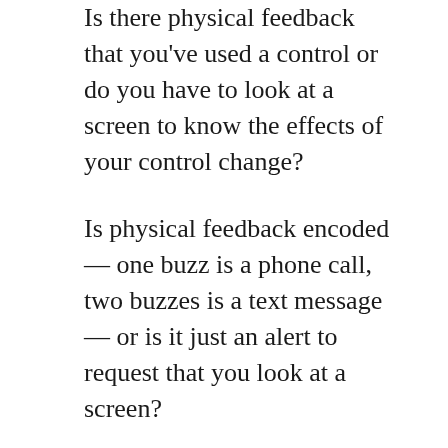Is there physical feedback that you've used a control or do you have to look at a screen to know the effects of your control change?
Is physical feedback encoded — one buzz is a phone call, two buzzes is a text message — or is it just an alert to request that you look at a screen?
Controls can be stylistic or even skeumorphic: cars that look like airplanes vs. boxy economy cars.
We fly spacecraft with computers, there are no joysticks ala Star Wars or any other movie that uses WWII airplane controls to navigate in space. However, on the Enterprise...